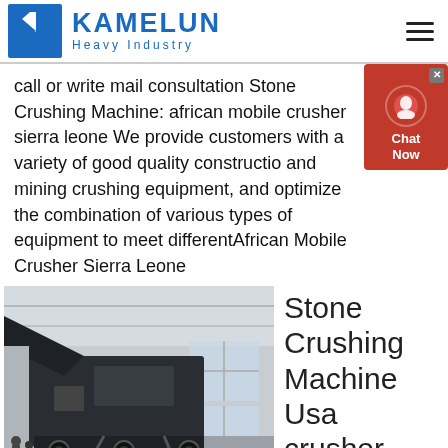[Figure (logo): Kamelun Heavy Industry logo with blue K icon and blue text]
call or write mail consultation Stone Crushing Machine: african mobile crusher sierra leone We provide customers with a variety of good quality construction and mining crushing equipment, and optimize the combination of various types of equipment to meet differentAfrican Mobile Crusher Sierra Leone
[Figure (photo): Mobile stone crushing machine inside a warehouse/industrial building, with watermark limingsale@gmail.com]
Stone Crushing Machine Usa crusher
production ebay